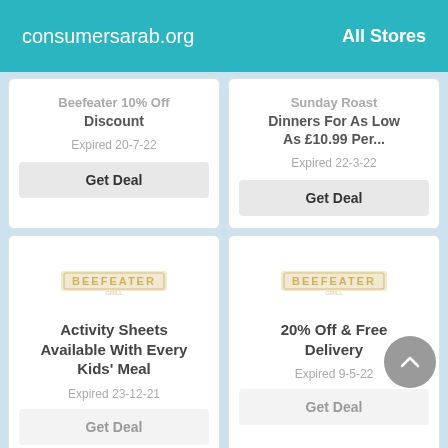consumersarab.org   All Stores
Beefeater 10% Off Discount — Expired 20-7-22
Sunday Roast Dinners For As Low As £10.99 Per... — Expired 22-3-22
Activity Sheets Available With Every Kids' Meal — Expired 23-12-21
20% Off & Free Delivery — Expired 9-5-22